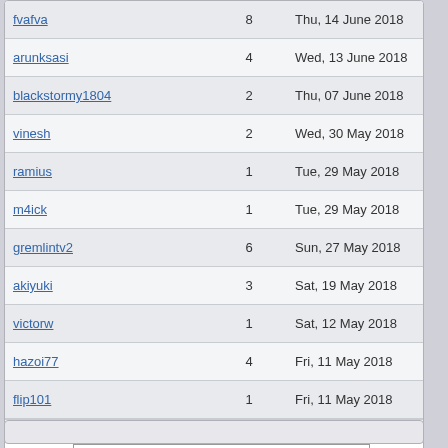| Username | Count | Date |  |
| --- | --- | --- | --- |
| fvafva | 8 | Thu, 14 June 2018 |  |
| arunksasi | 4 | Wed, 13 June 2018 |  |
| blackstormy1804 | 2 | Thu, 07 June 2018 |  |
| vinesh | 2 | Wed, 30 May 2018 |  |
| ramius | 1 | Tue, 29 May 2018 |  |
| m4ick | 1 | Tue, 29 May 2018 |  |
| gremlintv2 | 6 | Sun, 27 May 2018 |  |
| akiyuki | 3 | Sat, 19 May 2018 |  |
| victorw | 1 | Sat, 12 May 2018 |  |
| hazoi77 | 4 | Fri, 11 May 2018 |  |
| flip101 | 1 | Fri, 11 May 2018 |  |
Pages (131): [1 2 3 4 5 6 7 8 9 10 11 12 13 14 15 › »]
Current Time: Sun Aug 21 21:49:54 GMT 2022
Total time taken to generate the page: 0.00844 seconds